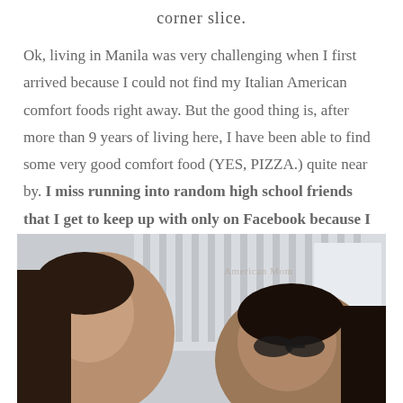corner slice.
Ok, living in Manila was very challenging when I first arrived because I could not find my Italian American comfort foods right away. But the good thing is, after more than 9 years of living here, I have been able to find some very good comfort food (YES, PIZZA.) quite near by. I miss running into random high school friends that I get to keep up with only on Facebook because I live so far away.
[Figure (photo): A selfie photo of two women outdoors, with a building with vertical columns visible in the background. A watermark text is partially visible.]